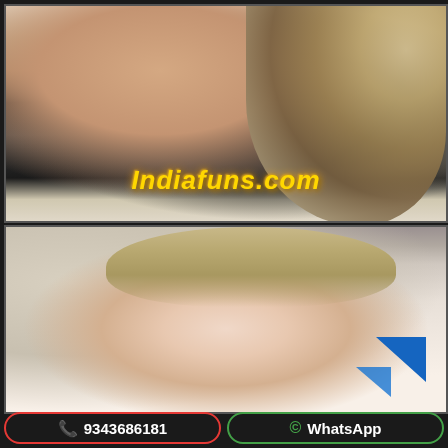[Figure (photo): Top photo: woman in black outfit with blonde hair, torso/arm visible, watermark 'Indiafuns.com' in gold italic text]
[Figure (photo): Bottom photo: young woman with blonde hair taking a selfie, smiling, blue triangle graphic in bottom right corner]
📞 9343686181
WhatsApp